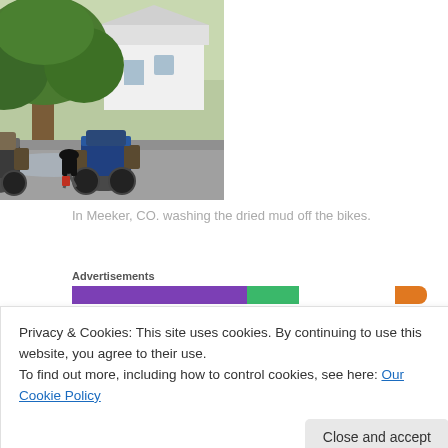[Figure (photo): Two loaded touring motorcycles being washed on a parking lot. A person is bent over rinsing one of the bikes. Large tree, suburban houses, and a yellow rack visible in background.]
In Meeker, CO. washing the dried mud off the bikes.
Advertisements
Privacy & Cookies: This site uses cookies. By continuing to use this website, you agree to their use.
To find out more, including how to control cookies, see here: Our Cookie Policy
Famiglia which was an extremely satisfying meal with